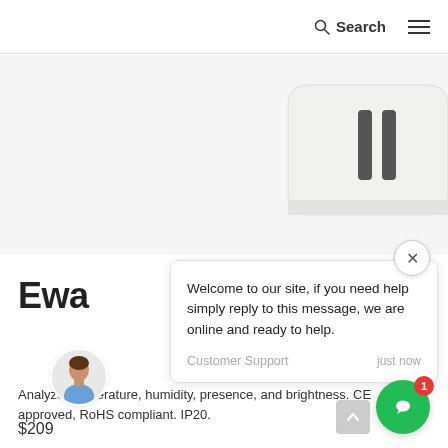Search  ☰
[Figure (photo): White rectangular smart sensor device with two dark slots, photographed on a light grey background]
Ewa
[Figure (infographic): Live chat popup overlay with close button (×). Message reads: 'Welcome to our site, if you need help simply reply to this message, we are online and ready to help.' Sender: Customer Support, Time: just now. Avatar of a person shown on left.]
Analyze temperature, humidity, presence, and brightness. CE approved, RoHS compliant. IP20.
$209